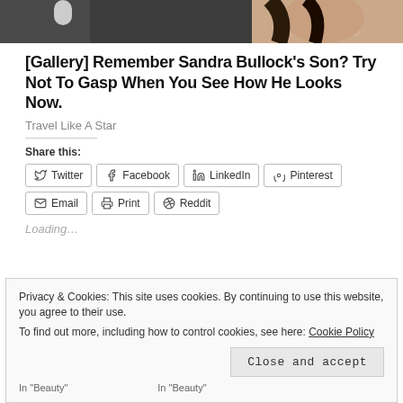[Figure (photo): Partial photo of two people, cropped at the top of the page, showing faces/hair]
[Gallery] Remember Sandra Bullock's Son? Try Not To Gasp When You See How He Looks Now.
Travel Like A Star
Share this:
Twitter | Facebook | LinkedIn | Pinterest | Email | Print | Reddit
Loading...
Privacy & Cookies: This site uses cookies. By continuing to use this website, you agree to their use. To find out more, including how to control cookies, see here: Cookie Policy
Close and accept
In "Beauty"